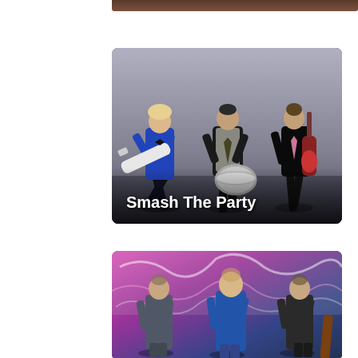[Figure (photo): Partial top strip of a photo showing a dark/brown wooden surface or bar top]
[Figure (photo): Three musicians in formal attire on a grey background. Left: blonde man in blue jacket playing white guitar with one leg raised. Center: man in black suit and grey vest with drum/tambourine. Right: man in black suit playing red guitar. Text overlay reads 'Smash The Party'.]
[Figure (photo): Three men standing in front of a graffiti-covered wall with pink/purple tones. Left man in grey suit, center man in blue jacket, right man in dark suit.]